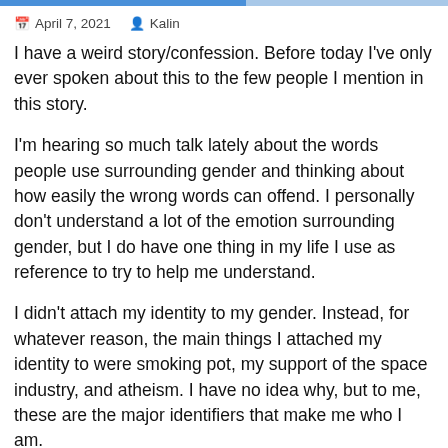April 7, 2021 | Kalin
I have a weird story/confession. Before today I've only ever spoken about this to the few people I mention in this story.
I'm hearing so much talk lately about the words people use surrounding gender and thinking about how easily the wrong words can offend. I personally don't understand a lot of the emotion surrounding gender, but I do have one thing in my life I use as reference to try to help me understand.
I didn't attach my identity to my gender. Instead, for whatever reason, the main things I attached my identity to were smoking pot, my support of the space industry, and atheism. I have no idea why, but to me, these are the major identifiers that make me who I am.
When it comes to being atheist, I do have something that upsets me in a way that may be similar to what nonbinary people feel when being misgendered. It will seem very weird